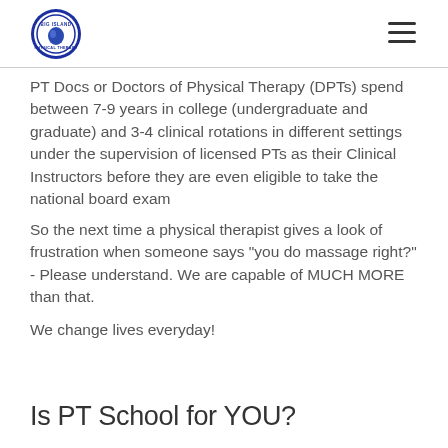[Figure (logo): Big Island Physical Therapy circular logo with blue border]
PT Docs or Doctors of Physical Therapy (DPTs) spend between 7-9 years in college (undergraduate and graduate) and 3-4 clinical rotations in different settings under the supervision of licensed PTs as their Clinical Instructors before they are even eligible to take the national board exam
So the next time a physical therapist gives a look of frustration when someone says "you do massage right?" - Please understand. We are capable of MUCH MORE than that.
We change lives everyday!
Is PT School for YOU?